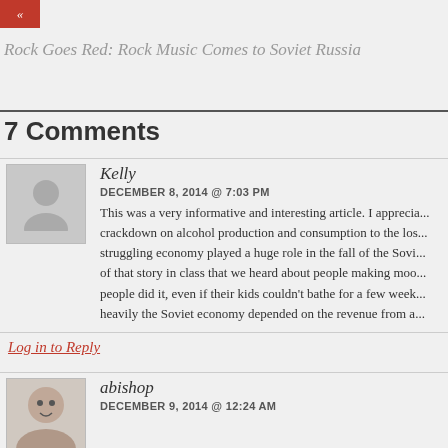«
Rock Goes Red: Rock Music Comes to Soviet Russia
7 Comments
Kelly
DECEMBER 8, 2014 @ 7:03 PM
This was a very informative and interesting article. I apprecia... crackdown on alcohol production and consumption to the los... struggling economy played a huge role in the fall of the Sovi... of that story in class that we heard about people making moo... people did it, even if their kids couldn't bathe for a few week... heavily the Soviet economy depended on the revenue from a...
Log in to Reply
abishop
DECEMBER 9, 2014 @ 12:24 AM